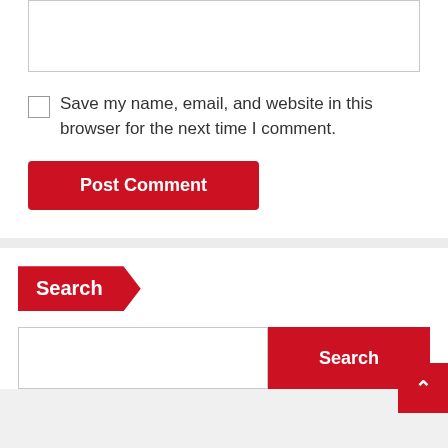[Figure (screenshot): Text input box (textarea) with border, empty]
[Figure (screenshot): Checkbox (unchecked) followed by label text: Save my name, email, and website in this browser for the next time I comment.]
Save my name, email, and website in this browser for the next time I comment.
[Figure (screenshot): Red Post Comment button]
Search
[Figure (screenshot): Search input box and red Search button with scroll-to-top arrow button]